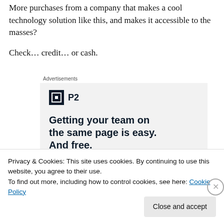More purchases from a company that makes a cool technology solution like this, and makes it accessible to the masses?
Check… credit… or cash.
[Figure (infographic): Advertisement for P2 with logo and headline: Getting your team on the same page is easy. And free.]
Privacy & Cookies: This site uses cookies. By continuing to use this website, you agree to their use.
To find out more, including how to control cookies, see here: Cookie Policy